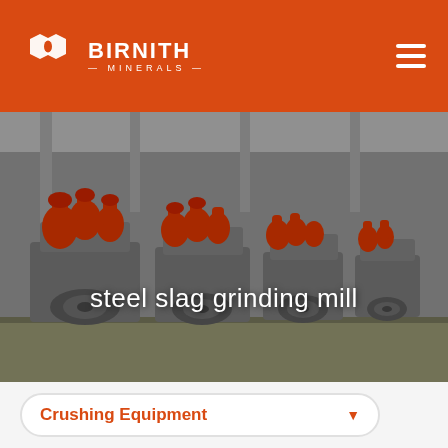[Figure (logo): Birnith Minerals logo: two overlapping hexagonal shapes in white on orange background, with BIRNITH text and —MINERALS— tagline]
[Figure (photo): Industrial factory floor showing a row of large red and grey steel slag grinding mill machines stretching into the distance. The machines have red hydraulic components on top and grey disc/wheel bases.]
steel slag grinding mill
Crushing Equipment